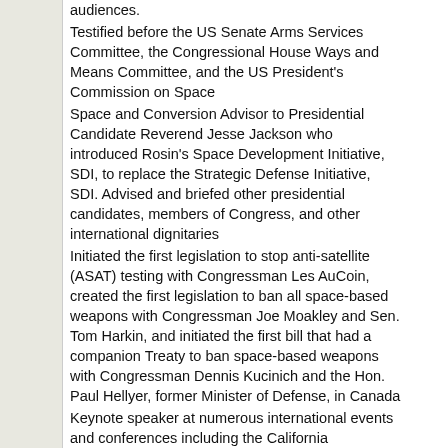audiences.
Testified before the US Senate Arms Services Committee, the Congressional House Ways and Means Committee, and the US President's Commission on Space
Space and Conversion Advisor to Presidential Candidate Reverend Jesse Jackson who introduced Rosin's Space Development Initiative, SDI, to replace the Strategic Defense Initiative, SDI. Advised and briefed other presidential candidates, members of Congress, and other international dignitaries
Initiated the first legislation to stop anti-satellite (ASAT) testing with Congressman Les AuCoin, created the first legislation to ban all space-based weapons with Congressman Joe Moakley and Sen. Tom Harkin, and initiated the first bill that had a companion Treaty to ban space-based weapons with Congressman Dennis Kucinich and the Hon. Paul Hellyer, former Minister of Defense, in Canada
Keynote speaker at numerous international events and conferences including the California Democratic Convention in 1983 about Space Age technology R&D, technology applications and transfer, economics and marketing vision for new products